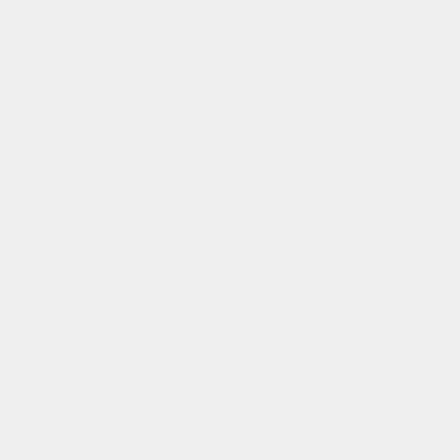ipthem-ifthecloak falls ipthem-ifthecloak falls
ipthem-ifthecloak falls ipthem-ifthecloak falls